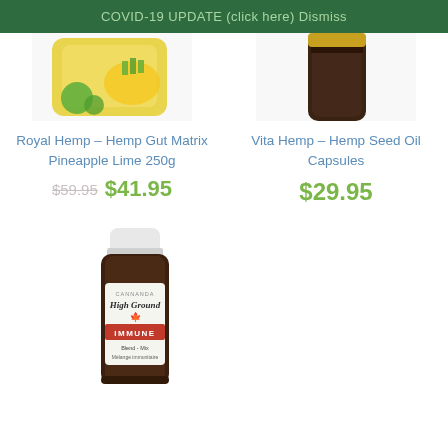COVID-19 UPDATE (click here) Dismiss
[Figure (photo): Royal Hemp Hemp Gut Matrix Pineapple Lime 250g product image — yellow/green packaging partially visible at top]
Royal Hemp – Hemp Gut Matrix Pineapple Lime 250g
$59.95 $41.95
[Figure (photo): Vita Hemp Hemp Seed Oil Capsules product image — dark brown bottle visible at top]
Vita Hemp – Hemp Seed Oil Capsules
$29.95
[Figure (photo): Cannanda High Ground Immune Blend essential oil small brown dropper bottle with white cap, red banner label reading IMMUNE, Blend - Mix / Melange immunitaire]